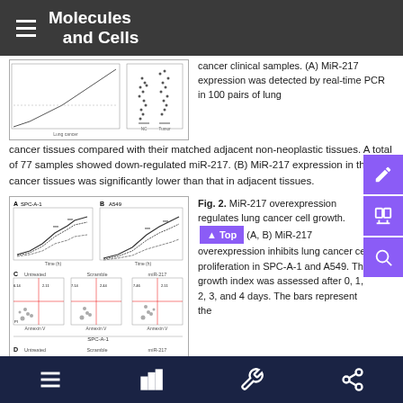Molecules and Cells
[Figure (other): Figure 1 panels showing MiR-217 expression data: a line/scatter plot on the left and dot plot on the right showing expression in lung cancer vs adjacent tissues]
cancer clinical samples. (A) MiR-217 expression was detected by real-time PCR in 100 pairs of lung cancer tissues compared with their matched adjacent non-neoplastic tissues. A total of 77 samples showed down-regulated miR-217. (B) MiR-217 expression in the lung cancer tissues was significantly lower than that in adjacent tissues.
[Figure (other): Figure 2 panels: (A) SPC-A-1 and (B) A549 cell proliferation curves for Untreated, Scramble, and miR-217 groups over 0-4 days. (C) Flow cytometry scatter plots showing Annexin V vs PI staining for SPC-A-1 cells (Untreated, Scramble, miR-217). (D) partial panel visible at bottom.]
Fig. 2. MiR-217 overexpression regulates lung cancer cell growth. (A, B) MiR-217 overexpression inhibits lung cancer cell proliferation in SPC-A-1 and A549. The growth index was assessed after 0, 1, 2, 3, and 4 days. The bars represent the
Navigation bar with menu, chart, tool, and share icons